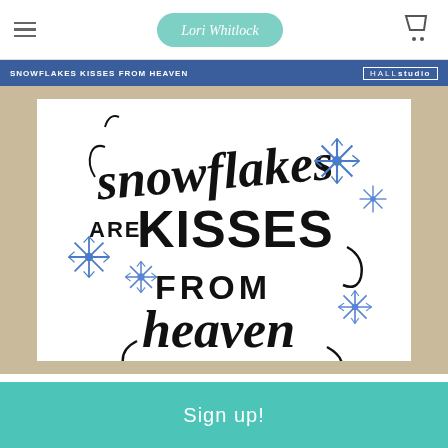Lori Whitlock
[Figure (illustration): Product listing page for 'Snowflakes Kisses From Heaven' SVG design by Lori Whitlock / HALLstudio. Shows decorative text art with script and bold letters reading 'snowflakes ARE KISSES FROM heaven' surrounded by blue snowflake illustrations on white background within a tan/beige frame.]
Sign up!